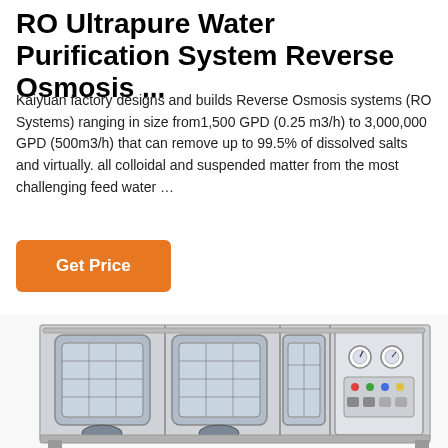RO Ultrapure Water Purification System Reverse Osmosis ...
Kaiyuan factory designs and builds Reverse Osmosis systems (RO Systems) ranging in size from1,500 GPD (0.25 m3/h) to 3,000,000 GPD (500m3/h) that can remove up to 99.5% of dissolved salts and virtually. all colloidal and suspended matter from the most challenging feed water …
Get Price
[Figure (photo): Industrial reverse osmosis water purification system with stainless steel frame, multiple cylindrical membrane housings, and a control panel, photographed from the front.]